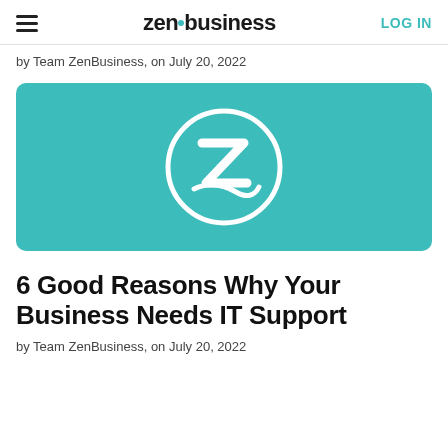zenbusiness  LOG IN
by Team ZenBusiness, on July 20, 2022
[Figure (logo): ZenBusiness logo — white circular Z icon on teal/turquoise background]
6 Good Reasons Why Your Business Needs IT Support
by Team ZenBusiness, on July 20, 2022